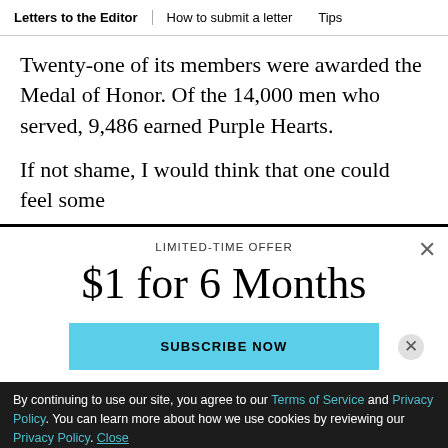Letters to the Editor | How to submit a letter | Tips
Twenty-one of its members were awarded the Medal of Honor. Of the 14,000 men who served, 9,486 earned Purple Hearts.
If not shame, I would think that one could feel some
LIMITED-TIME OFFER
$1 for 6 Months
SUBSCRIBE NOW
By continuing to use our site, you agree to our Terms of Service and Privacy Policy. You can learn more about how we use cookies by reviewing our Privacy Policy. Close
Season 5 of The Times' go-to podcast is here